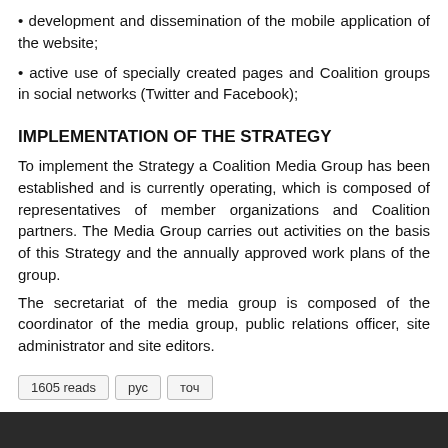• development and dissemination of the mobile application of the website;
• active use of specially created pages and Coalition groups in social networks (Twitter and Facebook);
IMPLEMENTATION OF THE STRATEGY
To implement the Strategy a Coalition Media Group has been established and is currently operating, which is composed of representatives of member organizations and Coalition partners. The Media Group carries out activities on the basis of this Strategy and the annually approved work plans of the group.
The secretariat of the media group is composed of the coordinator of the media group, public relations officer, site administrator and site editors.
1605 reads  рус  точ